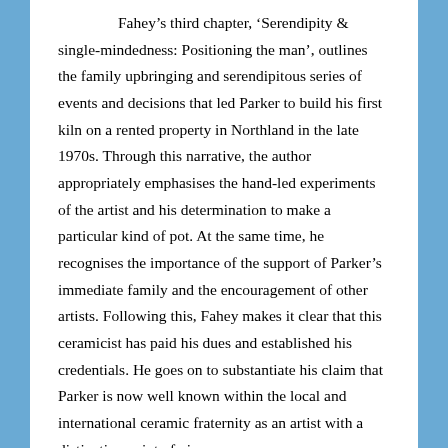Fahey's third chapter, 'Serendipity & single-mindedness: Positioning the man', outlines the family upbringing and serendipitous series of events and decisions that led Parker to build his first kiln on a rented property in Northland in the late 1970s. Through this narrative, the author appropriately emphasises the hand-led experiments of the artist and his determination to make a particular kind of pot. At the same time, he recognises the importance of the support of Parker's immediate family and the encouragement of other artists. Following this, Fahey makes it clear that this ceramicist has paid his dues and established his credentials. He goes on to substantiate his claim that Parker is now well known within the local and international ceramic fraternity as an artist with a distinctive point of view.
An 'Afterword' closes Fahey's extended essay by offering a final exploration of Parker's art. Entitled 'Positioning the artist', it's a summary in which the author returns to Parker's special world of perception: his mission to capture and share the dynamics of an inquisitive